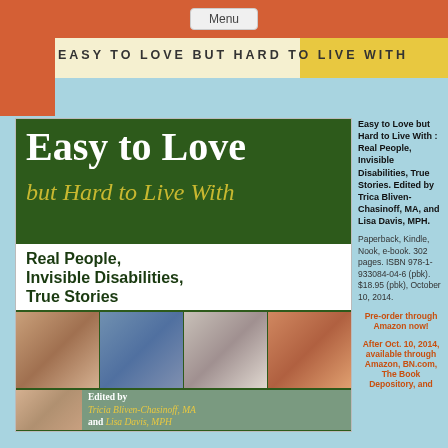EASY TO LOVE BUT HARD TO LIVE WITH
[Figure (photo): Book cover for 'Easy to Love but Hard to Live With: Real People, Invisible Disabilities, True Stories' edited by Tricia Bliven-Chasinoff MA and Lisa Davis MPH, showing title text on dark green background with photos of people]
Easy to Love but Hard to Live With : Real People, Invisible Disabilities, True Stories. Edited by Trica Bliven-Chasinoff, MA, and Lisa Davis, MPH.
Paperback, Kindle, Nook, e-book. 302 pages. ISBN 978-1-933084-04-6 (pbk). $18.95 (pbk), October 10, 2014.
Pre-order through Amazon now!
After Oct. 10, 2014, available through Amazon, BN.com, The Book Depository, and